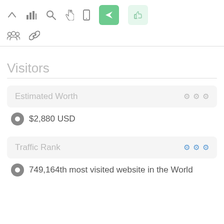[Figure (screenshot): Toolbar with icons: up arrow, bar chart, search, pointer/hand, mobile phone, green send/arrow button, light green thumbs up button, then second row with people group icon and chain link icon]
Visitors
Estimated Worth
$2,880 USD
Traffic Rank
749,164th most visited website in the World